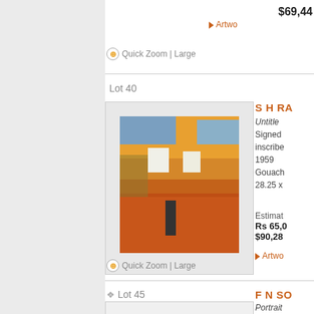$69,44
▶ Artwo
⊕ Quick Zoom | Large
Lot 40
[Figure (photo): Painting by S H Raza, untitled gouache, 1959, colorful expressionist landscape with orange, yellow, blue tones]
S H RA
Untitled
Signed
inscribed
1959
Gouach
28.25 x
Estimate
Rs 65,0
$90,28
▶ Artwo
⊕ Quick Zoom | Large
❖ Lot 45
F N SO
Portrait
Signed